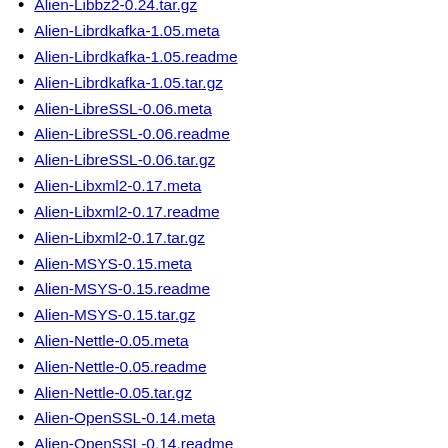Alien-Libbz2-0.24.tar.gz
Alien-Librdkafka-1.05.meta
Alien-Librdkafka-1.05.readme
Alien-Librdkafka-1.05.tar.gz
Alien-LibreSSL-0.06.meta
Alien-LibreSSL-0.06.readme
Alien-LibreSSL-0.06.tar.gz
Alien-Libxml2-0.17.meta
Alien-Libxml2-0.17.readme
Alien-Libxml2-0.17.tar.gz
Alien-MSYS-0.15.meta
Alien-MSYS-0.15.readme
Alien-MSYS-0.15.tar.gz
Alien-Nettle-0.05.meta
Alien-Nettle-0.05.readme
Alien-Nettle-0.05.tar.gz
Alien-OpenSSL-0.14.meta
Alien-OpenSSL-0.14.readme
Alien-OpenSSL-0.14.tar.gz
Alien-Role-Alt-0.05.meta
Alien-Role-Alt-0.05.readme
Alien-Role-Alt-0.05.tar.gz
Alien-Role-Dino-0.07.meta
Alien-Role-Dino-0.07.readme
Alien-Role-Dino-0.07.tar.gz